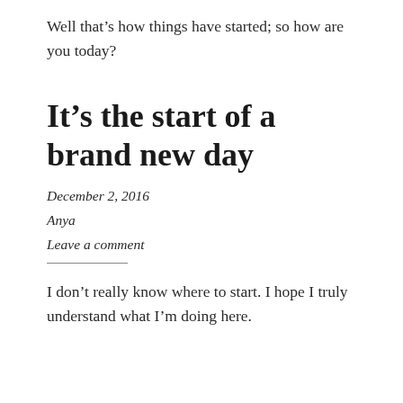Well that’s how things have started; so how are you today?
It’s the start of a brand new day
December 2, 2016
Anya
Leave a comment
I don’t really know where to start. I hope I truly understand what I’m doing here.